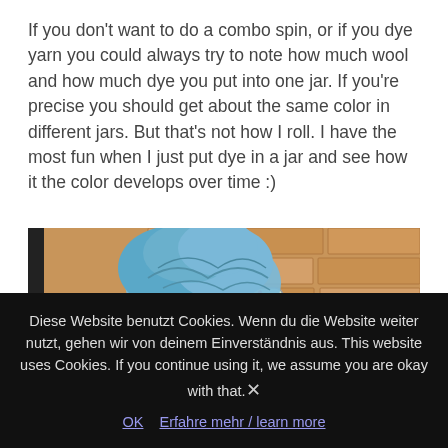If you don't want to do a combo spin, or if you dye yarn you could always try to note how much wool and how much dye you put into one jar. If you're precise you should get about the same color in different jars. But that's not how I roll. I have the most fun when I just put dye in a jar and see how it the color develops over time :)
[Figure (photo): Blue wool or fiber stuffed into a decorative cup/mug with flamingo pattern, placed near a window with terracotta brick wall visible in the background.]
Diese Website benutzt Cookies. Wenn du die Website weiter nutzt, gehen wir von deinem Einverständnis aus. This website uses Cookies. If you continue using it, we assume you are okay with that. × OK Erfahre mehr / learn more